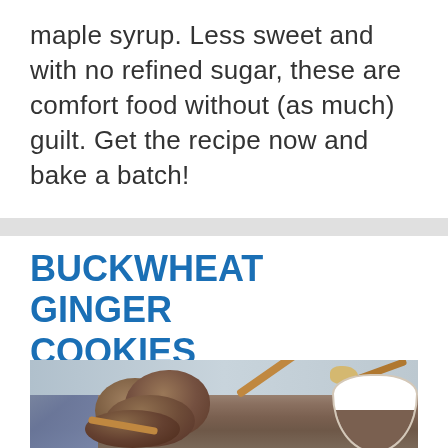maple syrup. Less sweet and with no refined sugar, these are comfort food without (as much) guilt. Get the recipe now and bake a batch!
BUCKWHEAT GINGER COOKIES
[Figure (photo): Photo of buckwheat ginger cookies stacked on a plate with cinnamon sticks, a blue cloth napkin, and a bowl of cookies in the background on a grey surface.]